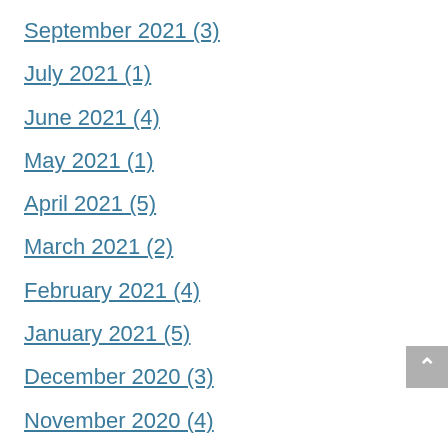September 2021 (3)
July 2021 (1)
June 2021 (4)
May 2021 (1)
April 2021 (5)
March 2021 (2)
February 2021 (4)
January 2021 (5)
December 2020 (3)
November 2020 (4)
October 2020 (4)
September 2020 (2)